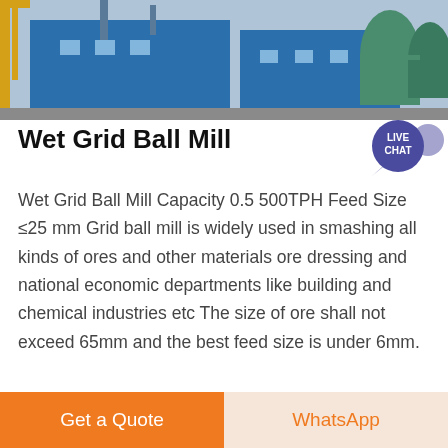[Figure (photo): Industrial facility with blue buildings, yellow structural frames, and green pressure tanks]
Wet Grid Ball Mill
[Figure (infographic): Live Chat speech bubble icon in purple/blue]
Wet Grid Ball Mill Capacity 0.5 500TPH Feed Size ≤25 mm Grid ball mill is widely used in smashing all kinds of ores and other materials ore dressing and national economic departments like building and chemical industries etc The size of ore shall not exceed 65mm and the best feed size is under 6mm.
[Figure (photo): Interior ceiling of an industrial facility with corrugated metal roof and hanging equipment]
Get Price
Get a Quote
WhatsApp